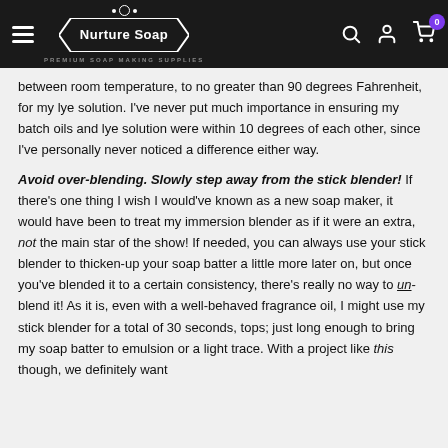Nurture Soap - Premium Soap Making Supplies
between room temperature, to no greater than 90 degrees Fahrenheit, for my lye solution. I've never put much importance in ensuring my batch oils and lye solution were within 10 degrees of each other, since I've personally never noticed a difference either way.
Avoid over-blending. Slowly step away from the stick blender!
If there's one thing I wish I would've known as a new soap maker, it would have been to treat my immersion blender as if it were an extra, not the main star of the show! If needed, you can always use your stick blender to thicken-up your soap batter a little more later on, but once you've blended it to a certain consistency, there's really no way to un-blend it! As it is, even with a well-behaved fragrance oil, I might use my stick blender for a total of 30 seconds, tops; just long enough to bring my soap batter to emulsion or a light trace. With a project like this though, we definitely want